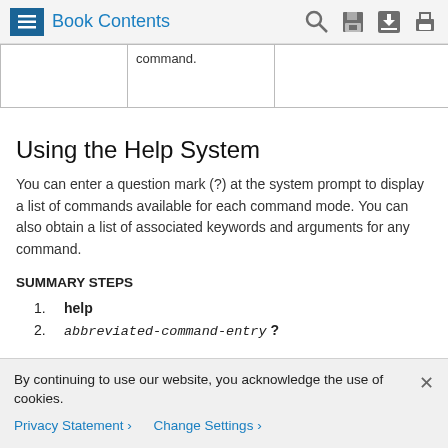Book Contents
|  | command. |  | pr
or |
| --- | --- | --- | --- |
|  | command. |  | pr
or |
Using the Help System
You can enter a question mark (?) at the system prompt to display a list of commands available for each command mode. You can also obtain a list of associated keywords and arguments for any command.
SUMMARY STEPS
1.    help
2.    abbreviated-command-entry ?
By continuing to use our website, you acknowledge the use of cookies.
Privacy Statement >    Change Settings >